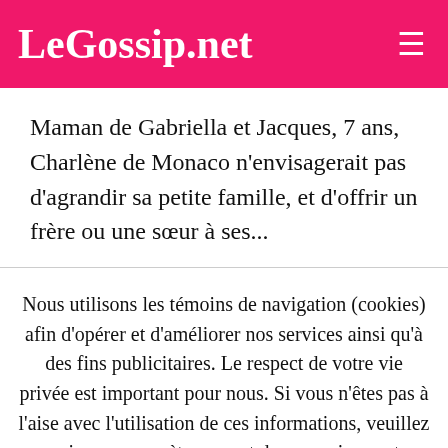LeGossip.net
Maman de Gabriella et Jacques, 7 ans, Charlène de Monaco n'envisagerait pas d'agrandir sa petite famille, et d'offrir un frère ou une sœur à ses...
Nous utilisons les témoins de navigation (cookies) afin d'opérer et d'améliorer nos services ainsi qu'à des fins publicitaires. Le respect de votre vie privée est important pour nous. Si vous n'êtes pas à l'aise avec l'utilisation de ces informations, veuillez revoir vos paramètres avant de poursuivre votre visite. Accepter  Lire plus